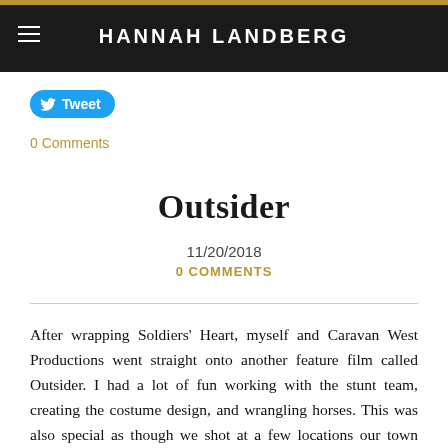HANNAH LANDBERG
[Figure (other): Tweet button with Twitter bird icon]
0 Comments
Outsider
11/20/2018
0 COMMENTS
After wrapping Soldiers' Heart, myself and Caravan West Productions went straight onto another feature film called Outsider. I had a lot of fun working with the stunt team, creating the costume design, and wrangling horses. This was also special as though we shot at a few locations our town scenes were filmed at the iconic Paramount Ranch